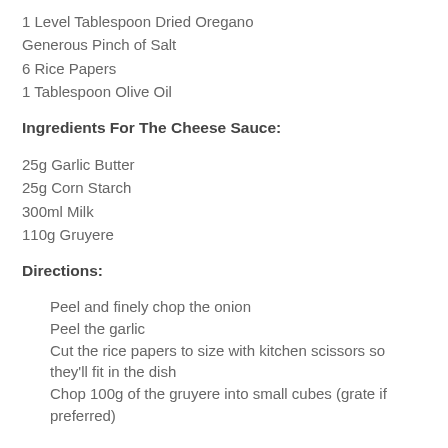1 Level Tablespoon Dried Oregano
Generous Pinch of Salt
6 Rice Papers
1 Tablespoon Olive Oil
Ingredients For The Cheese Sauce:
25g Garlic Butter
25g Corn Starch
300ml Milk
110g Gruyere
Directions:
Peel and finely chop the onion
Peel the garlic
Cut the rice papers to size with kitchen scissors so they'll fit in the dish
Chop 100g of the gruyere into small cubes (grate if preferred)